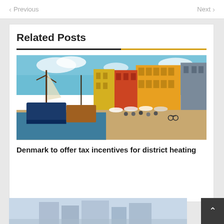Previous   Next
Related Posts
[Figure (photo): Colorful buildings along a canal waterfront with sailboats moored in the foreground and people cycling and walking along the promenade — Nyhavn, Copenhagen, Denmark]
Denmark to offer tax incentives for district heating
[Figure (photo): Partial view of a city skyline with blue-tinted buildings, likely a Scandinavian city]